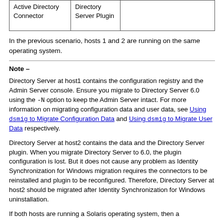| Active Directory Connector | Directory Server Plugin |  |
| --- | --- | --- |
|  |  |  |
In the previous scenario, hosts 1 and 2 are running on the same operating system.
Note –
Directory Server at host1 contains the configuration registry and the Admin Server console. Ensure you migrate to Directory Server 6.0 using the -N option to keep the Admin Server intact. For more information on migrating configuration data and user data, see Using dsmig to Migrate Configuration Data and Using dsmig to Migrate User Data respectively.
Directory Server at host2 contains the data and the Directory Server plugin. When you migrate Directory Server to 6.0, the plugin configuration is lost. But it does not cause any problem as Identity Synchronization for Windows migration requires the connectors to be reinstalled and plugin to be reconfigured. Therefore, Directory Server at host2 should be migrated after Identity Synchronization for Windows uninstallation.
If both hosts are running a Solaris operating system, then a